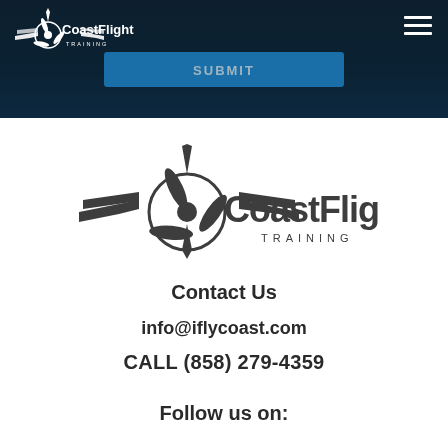[Figure (logo): CoastFlight Training logo - small white version in dark header bar]
SUBMIT
[Figure (logo): CoastFlight Training logo - large dark version on white background]
Contact Us
info@iflycoast.com
CALL (858) 279-4359
Follow us on: